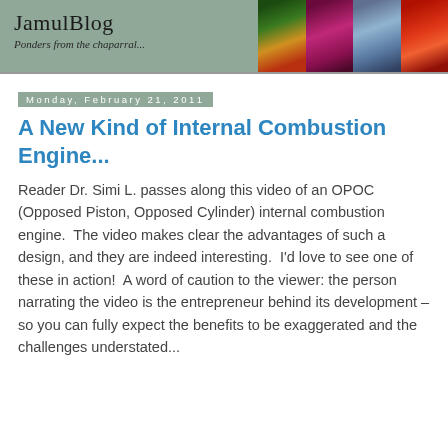JamulBlog – Ponders from the chaparral...
Monday, February 21, 2011
A New Kind of Internal Combustion Engine...
Reader Dr. Simi L. passes along this video of an OPOC (Opposed Piston, Opposed Cylinder) internal combustion engine.  The video makes clear the advantages of such a design, and they are indeed interesting.  I'd love to see one of these in action!  A word of caution to the viewer: the person narrating the video is the entrepreneur behind its development – so you can fully expect the benefits to be exaggerated and the challenges understated...